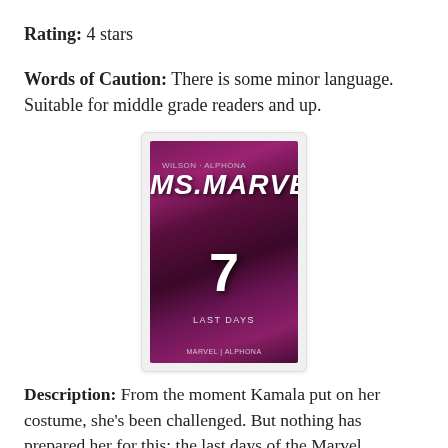Rating: 4 stars
Words of Caution: There is some minor language. Suitable for middle grade readers and up.
[Figure (photo): Book cover of Ms. Marvel issue 7 'Last Days' - a comic book cover featuring the Ms. Marvel character against a pink/purple abstract background with the number 7 prominently displayed]
Description: From the moment Kamala put on her costume, she's been challenged. But nothing has prepared her for this: the last days of the Marvel Universe. Lucky she's got the help of Carol "Captain Marvel" Danvers! Between teaming